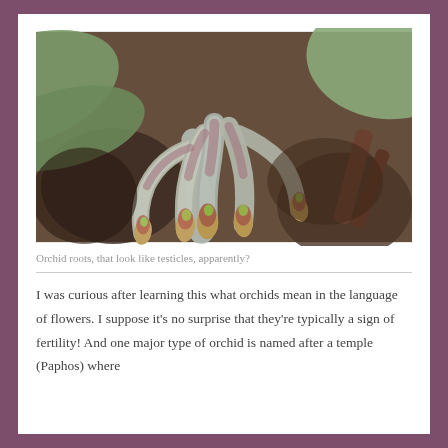[Figure (photo): Close-up photograph of orchid roots that resemble finger-like or bulbous protrusions, with pinkish-purple and yellow-green tips, set against a background of dried bark and large green leaves.]
Orchid roots, that look like testicles, apparently?
I was curious after learning this what orchids mean in the language of flowers. I suppose it's no surprise that they're typically a sign of fertility! And one major type of orchid is named after a temple (Paphos) where